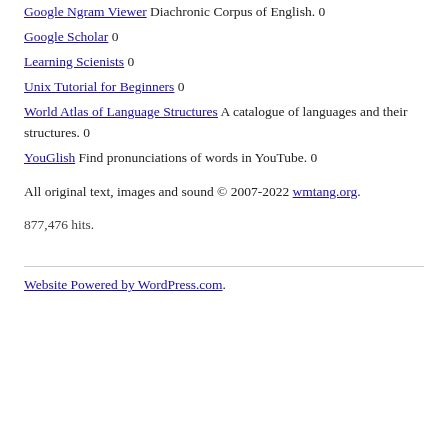Google Ngram Viewer Diachronic Corpus of English. 0
Google Scholar 0
Learning Scienists 0
Unix Tutorial for Beginners 0
World Atlas of Language Structures A catalogue of languages and their structures. 0
YouGlish Find pronunciations of words in YouTube. 0
All original text, images and sound © 2007-2022 wmtang.org.
877,476 hits.
Website Powered by WordPress.com.